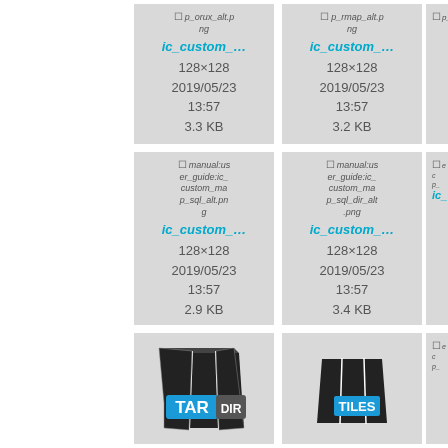[Figure (screenshot): File browser grid showing image tiles. Row 1: two visible cells with filenames p_orux_alt.png and p_rmap_alt.png, link text ic_custom_..., size 128x128, date 2019/05/23 13:57, sizes 3.3 KB and 3.2 KB. Row 2: two visible cells with manual:user_guide:ic_custom_map_sql_alt.png and manual:user_guide:ic_custom_map_sql_dir_alt.png, link text ic_custom_..., size 128x128, date 2019/05/23 13:57, sizes 2.9 KB and 3.4 KB. Row 3: TAR DIR icon and TILES icon tiles.]
p_orux_alt.png, ic_custom_..., 128x128, 2019/05/23, 13:57, 3.3 KB
p_rmap_alt.png, ic_custom_..., 128x128, 2019/05/23, 13:57, 3.2 KB
manual:user_guide:ic_custom_map_sql_alt.png, ic_custom_..., 128x128, 2019/05/23, 13:57, 2.9 KB
manual:user_guide:ic_custom_map_sql_dir_alt.png, ic_custom_..., 128x128, 2019/05/23, 13:57, 3.4 KB